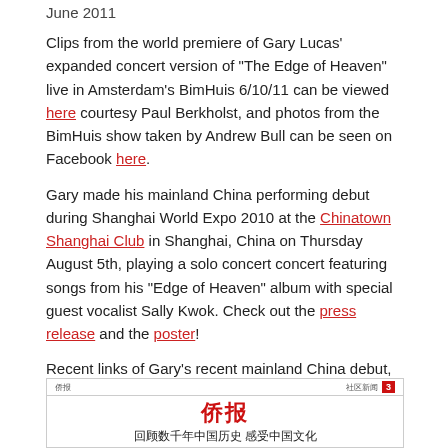June 2011
Clips from the world premiere of Gary Lucas' expanded concert version of "The Edge of Heaven" live in Amsterdam's BimHuis 6/10/11 can be viewed here courtesy Paul Berkholst, and photos from the BimHuis show taken by Andrew Bull can be seen on Facebook here.
Gary made his mainland China performing debut during Shanghai World Expo 2010 at the Chinatown Shanghai Club in Shanghai, China on Thursday August 5th, playing a solo concert concert featuring songs from his "Edge of Heaven" album with special guest vocalist Sally Kwok. Check out the press release and the poster!
Recent links of Gary's recent mainland China debut, from Shanghai Today.com:
An interview with Dr. Robert Lai about Gary's " Edge of Heaven" project, plus performance clips from the show with vocalist Sally Kwok at Chinatown Shanghai club 8/5/2010 here, and also photos from the night here.
[Figure (photo): Newspaper clipping showing a Chinese language newspaper with red masthead text and headline reading '回顾数千年中国历史 感受中国文化']